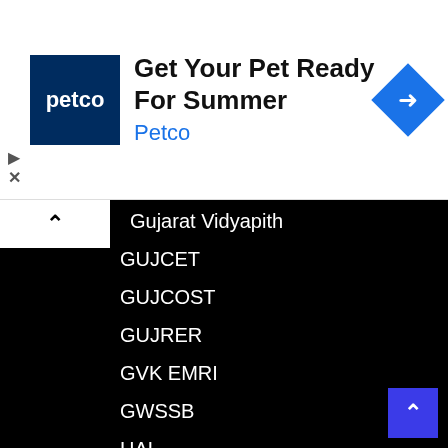[Figure (screenshot): Petco advertisement banner with Petco logo, headline 'Get Your Pet Ready For Summer', brand name 'Petco', and a blue navigation/map icon on the right.]
Gujarat Vidyapith
GUJCET
GUJCOST
GUJRER
GVK EMRI
GWSSB
HAL
Halol
HC OJAS JOB
HCL-HINDUSTAN COPPER LIMITED
Health Department
Health Department rajpipala